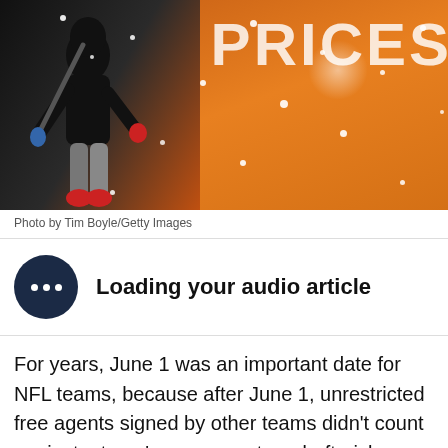[Figure (photo): Person in dark hoodie walking in snowfall in front of a large orange retail store window displaying the word PRICES in large white letters]
Photo by Tim Boyle/Getty Images
Loading your audio article
For years, June 1 was an important date for NFL teams, because after June 1, unrestricted free agents signed by other teams didn't count against a team's compensatory draft-pick formula. Starting in 2015, that